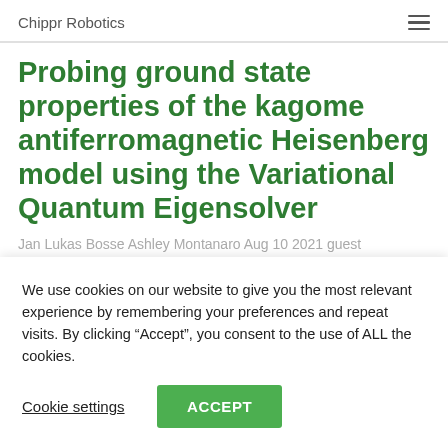Chippr Robotics
Probing ground state properties of the kagome antiferromagnetic Heisenberg model using the Variational Quantum Eigensolver
Jan Lukas Bosse Ashley Montanaro Aug 10 2021 guest
We use cookies on our website to give you the most relevant experience by remembering your preferences and repeat visits. By clicking “Accept”, you consent to the use of ALL the cookies.
Cookie settings  ACCEPT